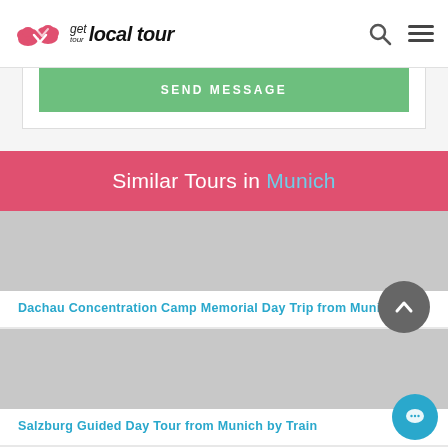get local tour
SEND MESSAGE
Similar Tours in Munich
Dachau Concentration Camp Memorial Day Trip from Munich
Salzburg Guided Day Tour from Munich by Train